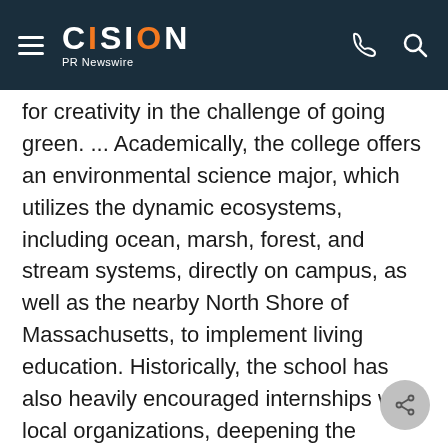CISION PR Newswire
for creativity in the challenge of going green. ... Academically, the college offers an environmental science major, which utilizes the dynamic ecosystems, including ocean, marsh, forest, and stream systems, directly on campus, as well as the nearby North Shore of Massachusetts, to implement living education. Historically, the school has also heavily encouraged internships with local organizations, deepening the possibilities for environmental study."
The Princeton Review first published this guide in 2010. It remains the only free, annually updated downloadable guide to green colleges. The company